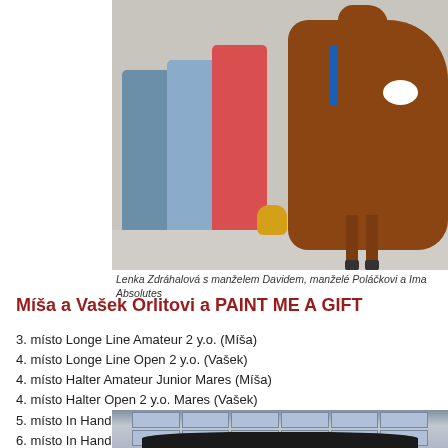[Figure (photo): Group photo showing Lenka Zdráhalová with husband David, manželé Poláčkovi and Ima Absolutes, a brown and white horse wearing a blue ribbon, with trophies on the floor]
Lenka Zdráhalová s manželem Davidem, manželé Poláčkovi a Ima Absolutes
Míša a Vašek Orlitovi a PAINT ME A GIFT
3.  místo Longe Line Amateur 2 y.o. (Míša)
4.  místo Longe Line Open 2 y.o. (Vašek)
4.  místo Halter Amateur Junior Mares (Míša)
4.  místo Halter Open 2 y.o. Mares (Vašek)
5.  místo In Hand Trail Amateur 2 y.o. (Míša)
6.  místo In Hand Trail Open 2 y.o. (Vašek)
[Figure (photo): Indoor arena or exhibition hall with large window grid visible in background and audience silhouettes in foreground]